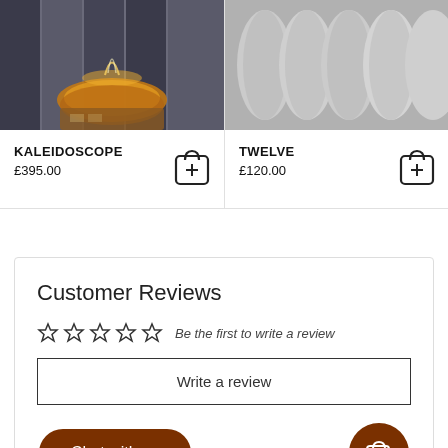[Figure (photo): Candle burning in a glass vessel, warm orange glow, dark background]
KALEIDOSCOPE
£395.00
[Figure (photo): Close-up of white cylindrical pillow/cushion rolls, black and white photo]
TWELVE
£120.00
Customer Reviews
☆☆☆☆☆  Be the first to write a review
Write a review
Chat with us